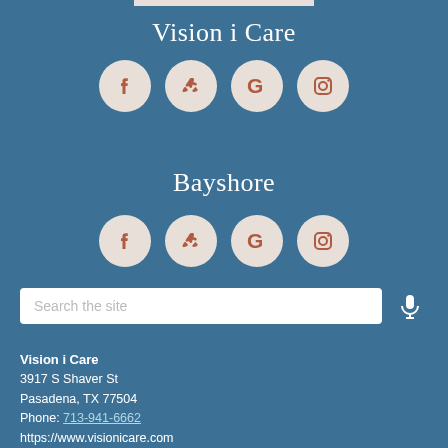Vision i Care
[Figure (infographic): Row of 4 social media icons (Facebook, Yelp, Google, Instagram) in light beige circles on blue background for Vision i Care]
Bayshore
[Figure (infographic): Row of 4 social media icons (Facebook, Yelp, Google, Instagram) in light beige circles on blue background for Bayshore]
[Figure (screenshot): Search bar with placeholder text 'Search the site' and microphone icon]
Vision i Care
3917 S Shaver St
Pasadena, TX 77504
Phone: 713-941-6662
https://www.visionicare.com